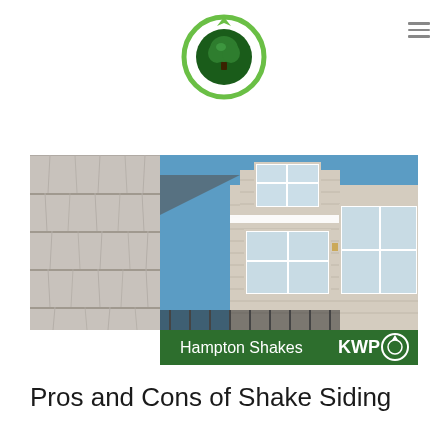[Figure (logo): KWP green circular logo with tree icon]
[Figure (photo): Composite image showing gray shake siding panels on left and a house exterior with horizontal siding and large windows on right, with a dark green banner at the bottom reading 'Hampton Shakes' and 'KWP' with circular logo]
Pros and Cons of Shake Siding